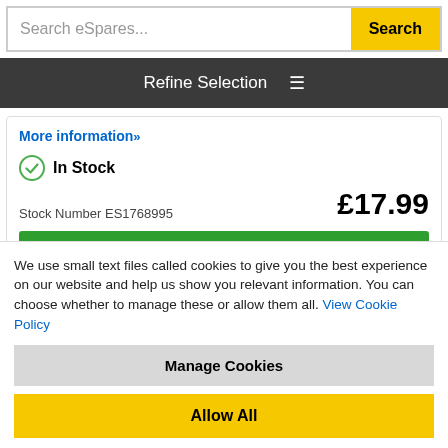Search eSpares...
Refine Selection
More information»
In Stock
Stock Number ES1768995
£17.99
Buy Now >
Universal Laundry Drain Hose Connector
We use small text files called cookies to give you the best experience on our website and help us show you relevant information. You can choose whether to manage these or allow them all. View Cookie Policy
Manage Cookies
Allow All